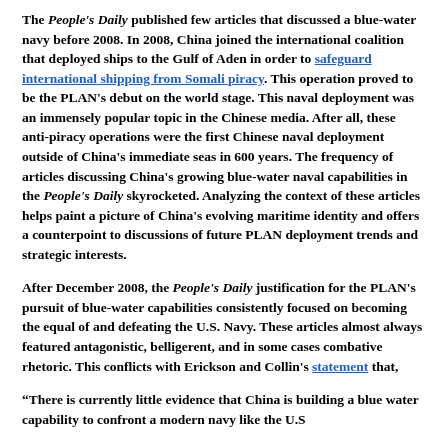The People's Daily published few articles that discussed a blue-water navy before 2008. In 2008, China joined the international coalition that deployed ships to the Gulf of Aden in order to safeguard international shipping from Somali piracy. This operation proved to be the PLAN's debut on the world stage. This naval deployment was an immensely popular topic in the Chinese media. After all, these anti-piracy operations were the first Chinese naval deployment outside of China's immediate seas in 600 years. The frequency of articles discussing China's growing blue-water naval capabilities in the People's Daily skyrocketed. Analyzing the context of these articles helps paint a picture of China's evolving maritime identity and offers a counterpoint to discussions of future PLAN deployment trends and strategic interests.
After December 2008, the People's Daily justification for the PLAN's pursuit of blue-water capabilities consistently focused on becoming the equal of and defeating the U.S. Navy. These articles almost always featured antagonistic, belligerent, and in some cases combative rhetoric. This conflicts with Erickson and Collin's statement that,
“There is currently little evidence that China is building a blue water capability to confront a modern navy like the U.S